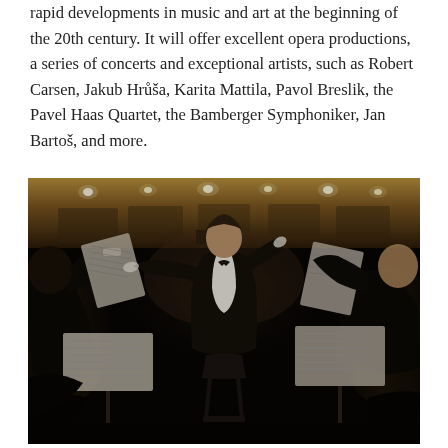rapid developments in music and art at the beginning of the 20th century. It will offer excellent opera productions, a series of concerts and exceptional artists, such as Robert Carsen, Jakub Hrůša, Karita Mattila, Pavol Breslik, the Pavel Haas Quartet, the Bamberger Symphoniker, Jan Bartoš, and more.
[Figure (photo): A conductor in formal black attire with white shirt stands at a podium with arms spread wide, baton in right hand, conducting an orchestra in a concert hall. Music stands with sheet music are visible in the foreground. Other musicians are partially visible at the edges. The concert hall has warm lighting along the ceiling.]